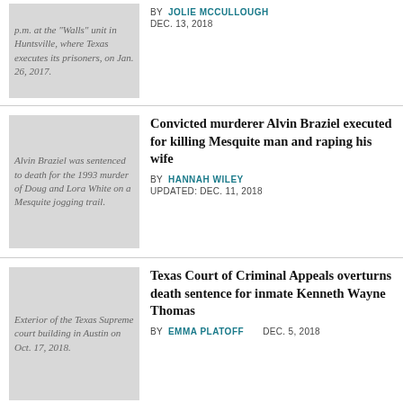[Figure (photo): Thumbnail placeholder: Walls unit in Huntsville where Texas executes its prisoners, on Jan. 26, 2017.]
BY JOLIE MCCULLOUGH
DEC. 13, 2018
[Figure (photo): Alvin Braziel was sentenced to death for the 1993 murder of Doug and Lora White on a Mesquite jogging trail.]
Convicted murderer Alvin Braziel executed for killing Mesquite man and raping his wife
BY HANNAH WILEY
UPDATED: DEC. 11, 2018
[Figure (photo): Exterior of the Texas Supreme court building in Austin on Oct. 17, 2018.]
Texas Court of Criminal Appeals overturns death sentence for inmate Kenneth Wayne Thomas
BY EMMA PLATOFF   DEC. 5, 2018
[Figure (photo): Photo of pills/pharmacy related image]
Report: Houston-based pharmacy is supplier of